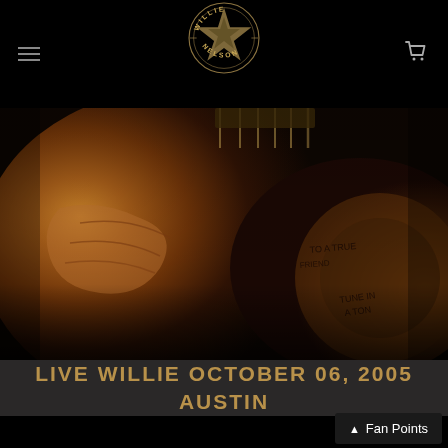Willie Nelson logo with hamburger menu and cart icon
[Figure (photo): Close-up photograph of Willie Nelson's weathered hand on guitar neck/body with writing on guitar, warm brown tones]
LIVE WILLIE OCTOBER 06, 2005 AUSTIN
Fan Points